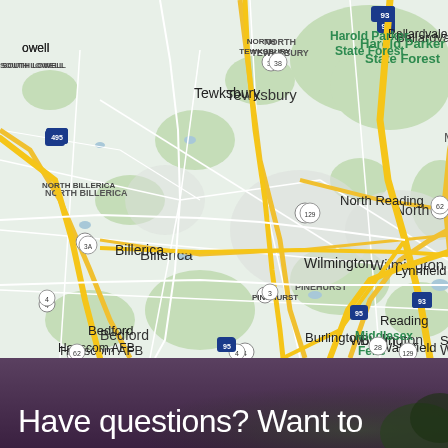[Figure (map): Google Maps screenshot showing towns north of Boston, MA including Tewksbury, Billerica, Wilmington, Burlington, Bedford, North Billerica, North Reading, Reading, Wakefield, Woburn, Stoneham, Hanscom AFB, Harold Parker State Forest, Middlesex Fells, PINEHURST area. Major roads including I-93, I-95, I-495, Route 38, 62, 129, 28, 3, 3A, 4 shown.]
Have questions? Want to